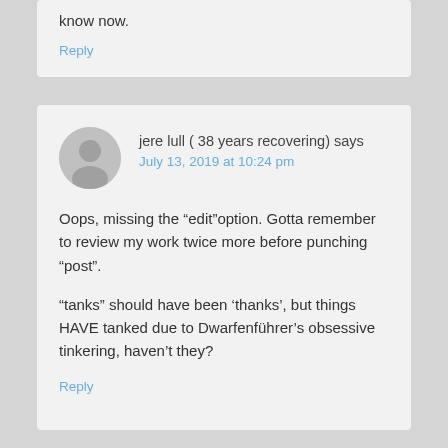know now.
Reply
jere lull ( 38 years recovering) says
July 13, 2019 at 10:24 pm
Oops, missing the “edit”option. Gotta remember to review my work twice more before punching “post”.
“tanks” should have been ‘thanks’, but things HAVE tanked due to Dwarfenführer’s obsessive tinkering, haven’t they?
Reply